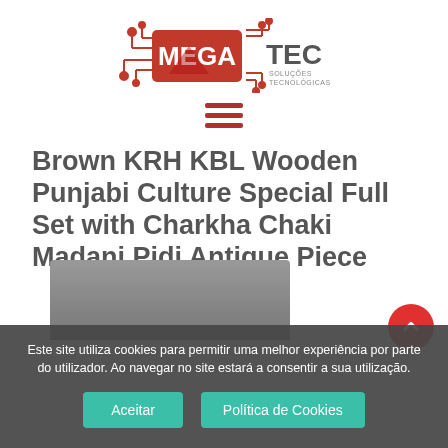[Figure (logo): MegaTec Soluções Tecnológicas logo — red rectangle with white MEGA text, TEC in dark letters, circuit board graphic elements in red]
[Figure (other): Hamburger menu icon — three horizontal red lines]
Brown KRH KBL Wooden Punjabi Culture Special Full Set with Charkha Chaki Madani Pidi Antique Piece
Este site utiliza cookies para permitir uma melhor experiência por parte do utilizador. Ao navegar no site estará a consentir a sua utilização.
Aceitar    Política de Cookies